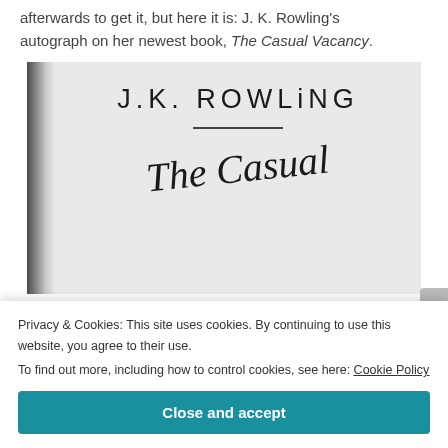afterwards to get it, but here it is: J. K. Rowling's autograph on her newest book, The Casual Vacancy.
[Figure (photo): Photo of a book title page showing 'J.K. ROWLING' in printed sans-serif lettering with a horizontal line beneath, and below that the cursive title 'The Casual' in italic script.]
Privacy & Cookies: This site uses cookies. By continuing to use this website, you agree to their use.
To find out more, including how to control cookies, see here: Cookie Policy
Close and accept